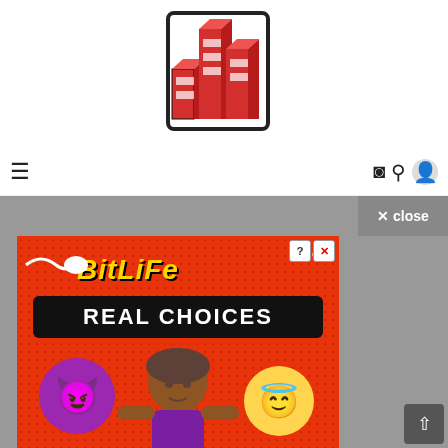[Figure (logo): Red and white 3D bar chart logo for a gaming/tech website]
≡   ◑ 🔍 👤
[Figure (screenshot): BitLife mobile game advertisement showing 'REAL CHOICES' text on a red dotted background with a cartoon girl choosing between a devil emoji and an angel emoji]
✕ close